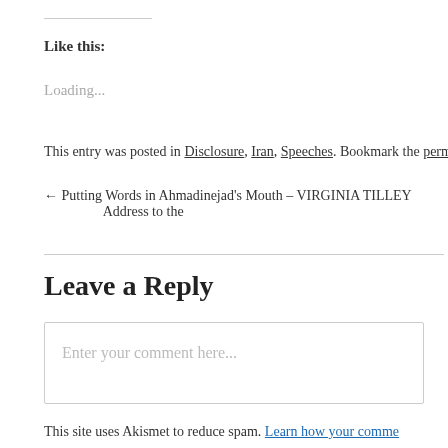Like this:
Loading...
This entry was posted in Disclosure, Iran, Speeches. Bookmark the permalink
← Putting Words in Ahmadinejad's Mouth – VIRGINIA TILLEY    Address to the
Leave a Reply
Enter your comment here...
This site uses Akismet to reduce spam. Learn how your commen